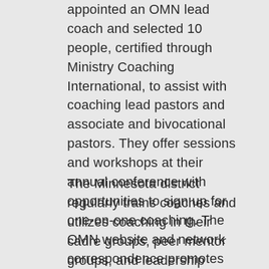appointed an OMN lead coach and selected 10 people, certified through Ministry Coaching International, to assist with coaching lead pastors and associate and bivocational pastors. They offer sessions and workshops at their annual conference with opportunities to sign up for one-on-one coaching. The OMN website and network correspondence promotes the coaching culture. Approximately 15 to 20 percent of OMN pastors are in the process of being trained or have been coached.
The Minnesota district regularly trains coaches and utilizes coaching in their cadre groups, peer mentor groups, and leadership groups. The Kansas district has developed an extensive coaching culture and provides certification through CoachNet (see the EJ